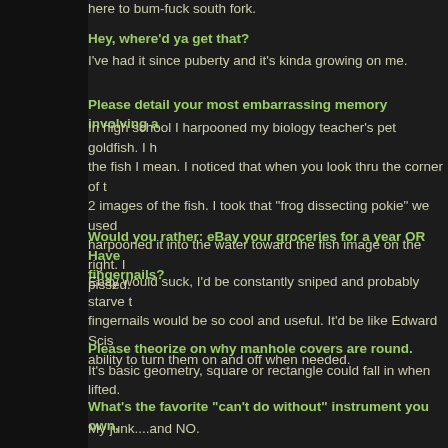here to bum-fuck south fork.
Hey, where'd ya get that?
I've had it since puberty and it's kinda growing on me.
Please detail your most embarrassing memory involving a...
In high school I harpooned my biology teacher's pet goldfish. I h... the fish I mean. I noticed that when you look thru the corner of t... 2 images of the fish. I took that "frog dissecting pokie" we used ... harpooned it into the water toward the fish image on the right. I ... pissed.
Would you rather: eBay your groceries for a year OR Have ... fingernails?
Ebay would suck, I'd be constantly sniped and probably starve t... fingernails would be so cool and useful. It'd be like Edward Scis... ability to turn them on and off when needed.
Please theorize on why manhole covers are round.
It's basic geometry, square or rectangle could fall in when lifted.
What's the favorite "can't do without" instrument you own,...
My junk....and NO.
How many gas stations would you say there are in the Un...